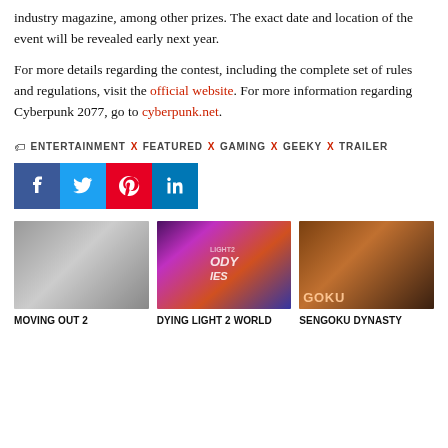industry magazine, among other prizes. The exact date and location of the event will be revealed early next year.

For more details regarding the contest, including the complete set of rules and regulations, visit the official website. For more information regarding Cyberpunk 2077, go to cyberpunk.net.
ENTERTAINMENT X FEATURED X GAMING X GEEKY X TRAILER
[Figure (other): Social share buttons: Facebook (blue), Twitter (light blue), Pinterest (red), LinkedIn (dark blue)]
[Figure (photo): Moving Out 2 game thumbnail - gray gradient placeholder]
MOVING OUT 2
[Figure (photo): Dying Light 2 World game thumbnail - colorful action scene with skull and characters]
DYING LIGHT 2 WORLD
[Figure (photo): Sengoku Dynasty game thumbnail - Japanese warrior with headband]
SENGOKU DYNASTY